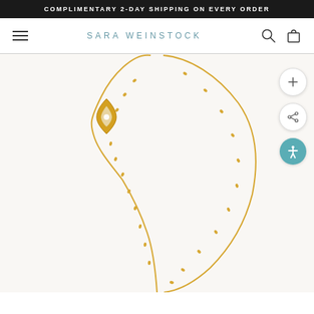COMPLIMENTARY 2-DAY SHIPPING ON EVERY ORDER
SARA WEINSTOCK
[Figure (photo): Product photo of a gold necklace with a marquise diamond pendant on a light beige/cream background. The chain forms a V-shape. There are three circular action buttons on the right side: a plus/zoom button, a share button, and a teal accessibility button.]